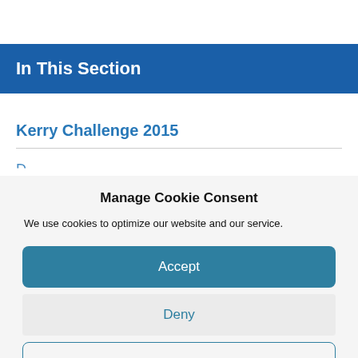In This Section
Kerry Challenge 2015
Manage Cookie Consent
We use cookies to optimize our website and our service.
Accept
Deny
Preferences